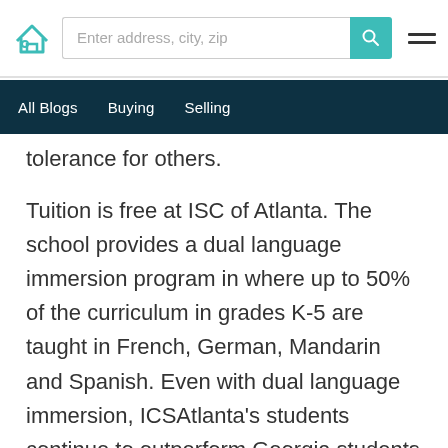[Figure (logo): Home/real estate website logo - house icon in teal]
Enter address, city, zip
All Blogs   Buying   Selling
tolerance for others.
Tuition is free at ISC of Atlanta. The school provides a dual language immersion program in where up to 50% of the curriculum in grades K-5 are taught in French, German, Mandarin and Spanish. Even with dual language immersion, ICSAtlanta's students continue to outperform Georgia students on the GA Milestones.
As an International Baccalaureate school, ISC Atlanta is dedicated to developing global, lifelong learners. Elementary students take part in the